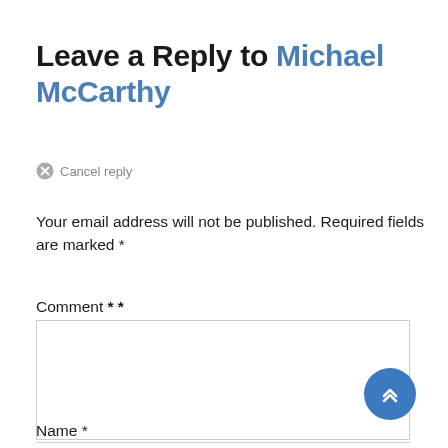Leave a Reply to Michael McCarthy
⊗ Cancel reply
Your email address will not be published. Required fields are marked *
Comment * *
Name *